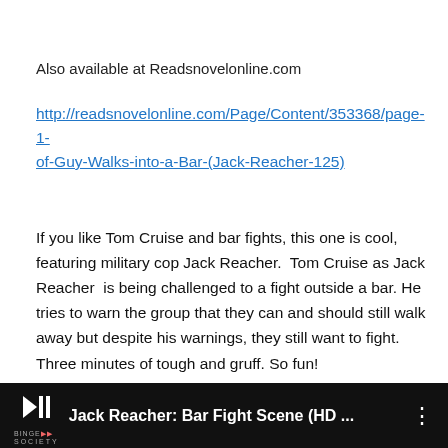Also available at Readsnovelonline.com
http://readsnovelonline.com/Page/Content/353368/page-1-of-Guy-Walks-into-a-Bar-(Jack-Reacher-125)
If you like Tom Cruise and bar fights, this one is cool, featuring military cop Jack Reacher.  Tom Cruise as Jack Reacher  is being challenged to a fight outside a bar. He tries to warn the group that they can and should still walk away but despite his warnings, they still want to fight. Three minutes of tough and gruff. So fun!
[Figure (screenshot): Video thumbnail bar showing Binge Society logo and title 'Jack Reacher: Bar Fight Scene (HD ...' on dark background with three-dot menu icon]